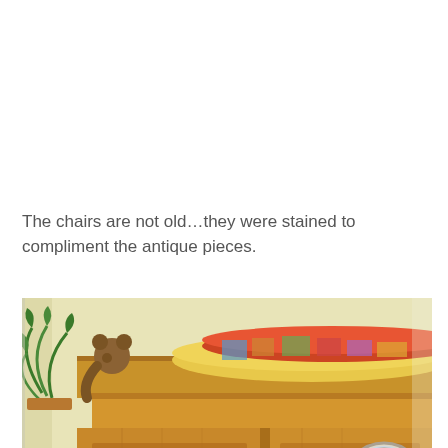The chairs are not old…they were stained to compliment the antique pieces.
[Figure (photo): Interior photo showing the top portion of a large pine wood armoire/cabinet with paneled doors. On top of the cabinet sit rolled quilts in colorful fabrics and a stuffed animal bear. To the left is a lush green fern plant. On the cream/yellow wall to the right hangs a decorative plate and below it a framed artwork. The bottom of the image shows a white surface (table or floor).]